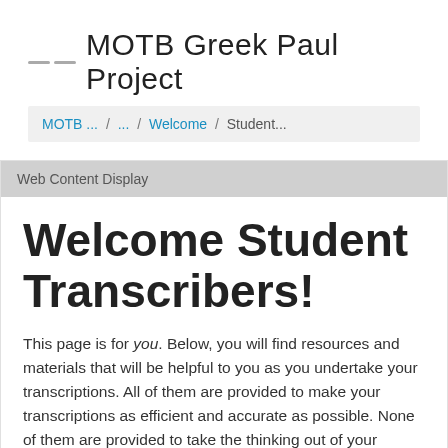MOTB Greek Paul Project
MOTB ... / ... / Welcome / Student...
Web Content Display
Welcome Student Transcribers!
This page is for you. Below, you will find resources and materials that will be helpful to you as you undertake your transcriptions. All of them are provided to make your transcriptions as efficient and accurate as possible. None of them are provided to take the thinking out of your efforts.